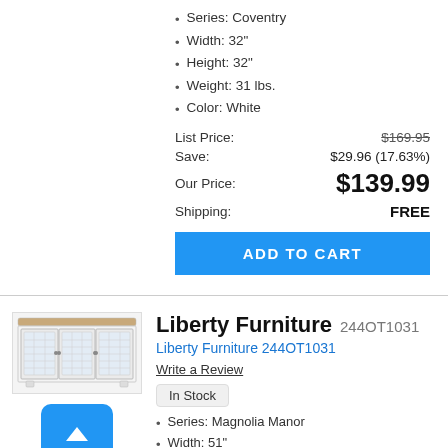Series: Coventry
Width: 32"
Height: 32"
Weight: 31 lbs.
Color: White
List Price: $169.95
Save: $29.96 (17.63%)
Our Price: $139.99
Shipping: FREE
ADD TO CART
[Figure (photo): White cabinet with glass panel doors, Liberty Furniture 244OT1031]
Liberty Furniture 244OT1031
Liberty Furniture 244OT1031
Write a Review
In Stock
Series: Magnolia Manor
Width: 51"
Height: 32"
Depth: 18"
Style: Transitional